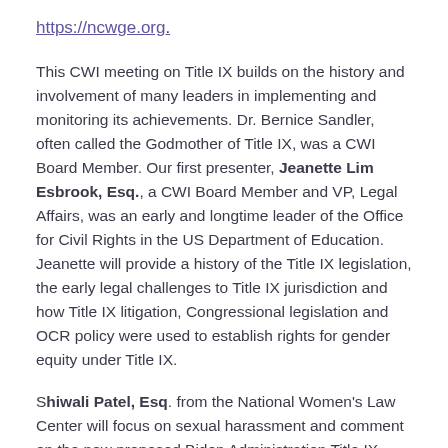https://ncwge.org.
This CWI meeting on Title IX builds on the history and involvement of many leaders in implementing and monitoring its achievements. Dr. Bernice Sandler, often called the Godmother of Title IX, was a CWI Board Member. Our first presenter, Jeanette Lim Esbrook, Esq., a CWI Board Member and VP, Legal Affairs, was an early and longtime leader of the Office for Civil Rights in the US Department of Education. Jeanette will provide a history of the Title IX legislation, the early legal challenges to Title IX jurisdiction and how Title IX litigation, Congressional legislation and OCR policy were used to establish rights for gender equity under Title IX.
Shiwali Patel, Esq. from the National Women's Law Center will focus on sexual harassment and comment on the new proposed Biden Administration Title IX